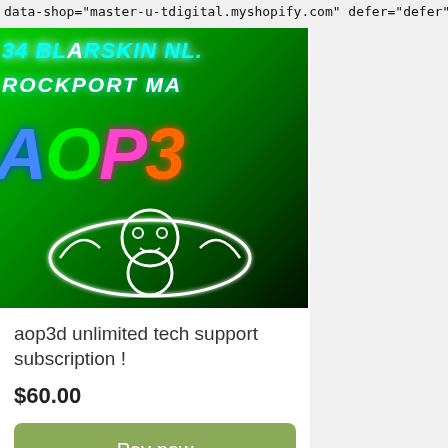data-shop="master-u-tdigital.myshopify.com" defer="defer">
[Figure (photo): Neon-lit sign photo showing colorful glowing text including '34 BLARSKIN NL.', 'ROCKPORT MA', 'AOP3' in blue, green, pink, orange neon letters on a green background with a cartoon character outline]
aop3d unlimited tech support subscription !
$60.00
Pay now